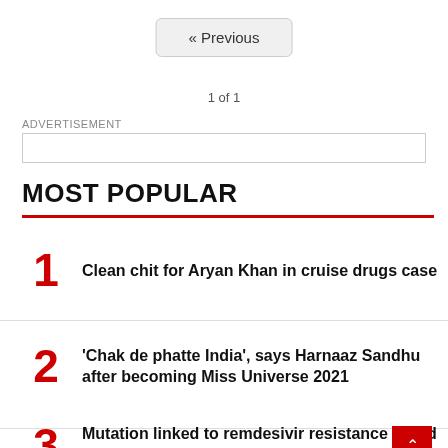« Previous
1 of 1
ADVERTISEMENT
MOST POPULAR
1 Clean chit for Aryan Khan in cruise drugs case
2 'Chak de phatte India', says Harnaaz Sandhu after becoming Miss Universe 2021
3 Mutation linked to remdesivir resistance found in Covid patie…